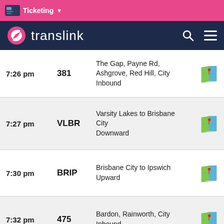Ticketing
translink
| Time | Route | Description | Map |
| --- | --- | --- | --- |
| 7:26 pm | 381 | The Gap, Payne Rd, Ashgrove, Red Hill, City Inbound |  |
| 7:27 pm | VLBR | Varsity Lakes to Brisbane City Downward |  |
| 7:30 pm | BRIP | Brisbane City to Ipswich Upward |  |
| 7:32 pm | 475 | Bardon, Rainworth, City Inbound |  |
| 7:32 pm | BRVL | Brisbane City to Varsity Lakes, Gold Coast |  |